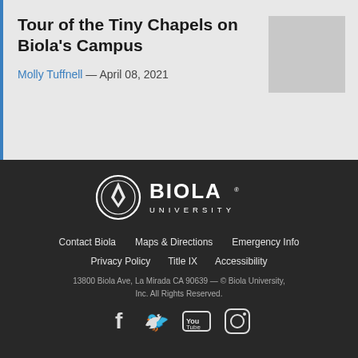Tour of the Tiny Chapels on Biola's Campus
Molly Tuffnell — April 08, 2021
[Figure (photo): Gray thumbnail image placeholder]
[Figure (logo): Biola University logo — circular emblem with dove/leaf design and text BIOLA UNIVERSITY]
Contact Biola   Maps & Directions   Emergency Info
Privacy Policy   Title IX   Accessibility
13800 Biola Ave, La Mirada CA 90639 — © Biola University, Inc. All Rights Reserved.
[Figure (infographic): Social media icons: Facebook, Twitter, YouTube, Instagram]